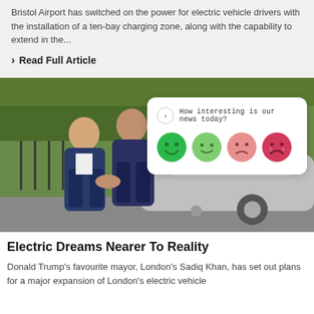Bristol Airport has switched on the power for electric vehicle drivers with the installation of a ten-bay charging zone, along with the capability to extend in the...
> Read Full Article
[Figure (photo): Two men in suits shaking hands in front of an electric vehicle, outdoors near trees and a fence. An interactive rating overlay reads 'How interesting is our news today?' with four emoji faces ranging from very happy (dark green) to very sad (dark pink/red).]
Electric Dreams Nearer To Reality
Donald Trump's favourite mayor, London's Sadiq Khan, has set out plans for a major expansion of London's electric vehicle